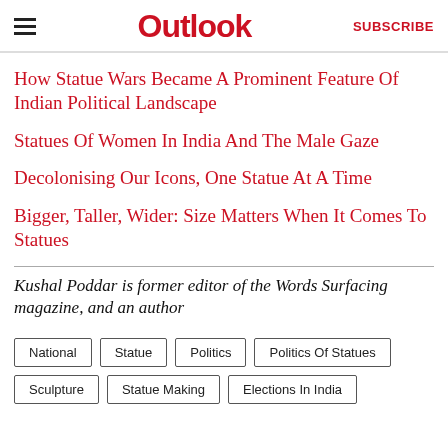Outlook | SUBSCRIBE
How Statue Wars Became A Prominent Feature Of Indian Political Landscape
Statues Of Women In India And The Male Gaze
Decolonising Our Icons, One Statue At A Time
Bigger, Taller, Wider: Size Matters When It Comes To Statues
Kushal Poddar is former editor of the Words Surfacing magazine, and an author
National
Statue
Politics
Politics Of Statues
Sculpture
Statue Making
Elections In India